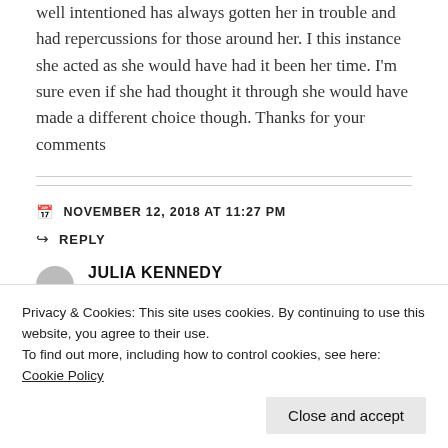well intentioned has always gotten her in trouble and had repercussions for those around her. I this instance she acted as she would have had it been her time. I'm sure even if she had thought it through she would have made a different choice though. Thanks for your comments
NOVEMBER 12, 2018 AT 11:27 PM
REPLY
JULIA KENNEDY
Privacy & Cookies: This site uses cookies. By continuing to use this website, you agree to their use.
To find out more, including how to control cookies, see here: Cookie Policy